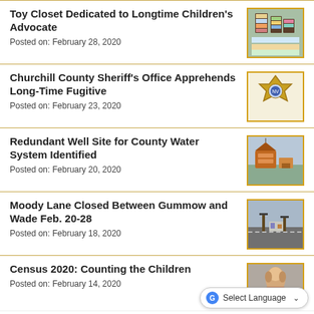Toy Closet Dedicated to Longtime Children's Advocate
Posted on: February 28, 2020
Churchill County Sheriff's Office Apprehends Long-Time Fugitive
Posted on: February 23, 2020
Redundant Well Site for County Water System Identified
Posted on: February 20, 2020
Moody Lane Closed Between Gummow and Wade Feb. 20-28
Posted on: February 18, 2020
Census 2020: Counting the Children
Posted on: February 14, 2020